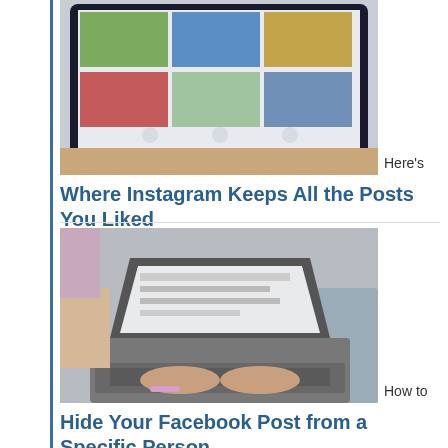[Figure (photo): Photo of a tablet displaying an Instagram-like grid feed with photos]
Here's Where Instagram Keeps All the Posts You Liked
[Figure (photo): Photo of a person typing on a laptop computer]
How to Hide Your Facebook Post from a Specific Person